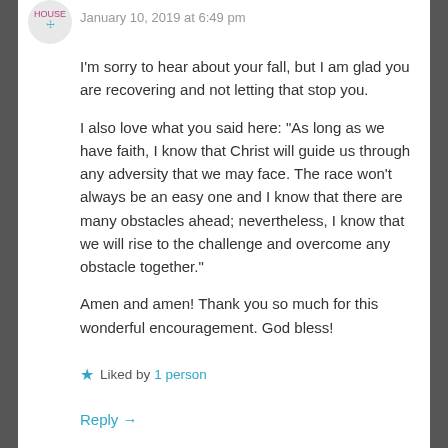[Figure (logo): Small circular avatar/logo icon in teal/purple colors]
January 10, 2019 at 6:49 pm
I'm sorry to hear about your fall, but I am glad you are recovering and not letting that stop you.
I also love what you said here: “As long as we have faith, I know that Christ will guide us through any adversity that we may face. The race won’t always be an easy one and I know that there are many obstacles ahead; nevertheless, I know that we will rise to the challenge and overcome any obstacle together.”
Amen and amen! Thank you so much for this wonderful encouragement. God bless!
★ Liked by 1 person
Reply →